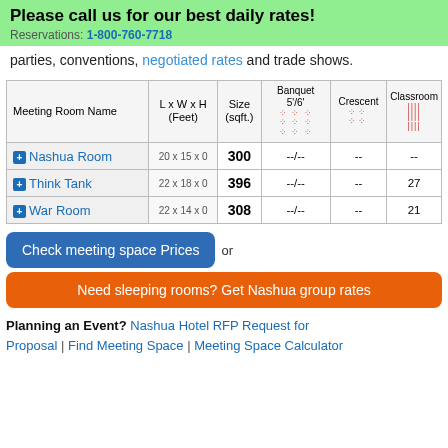Please call us for our best daily rates!
Reservations: 1-800-760-7718
parties, conventions, negotiated rates and trade shows.
| Meeting Room Name | L x W x H (Feet) | Size (sqft.) | Banquet 5'/6' | Crescent | Classroom |
| --- | --- | --- | --- | --- | --- |
| Nashua Room | 20 x 15 x 0 | 300 | --/-- | -- | -- |
| Think Tank | 22 x 18 x 0 | 396 | --/-- | -- | 27 |
| War Room | 22 x 14 x 0 | 308 | --/-- | -- | 21 |
Check meeting space Prices  or
Need sleeping rooms? Get Nashua group rates
Planning an Event? Nashua Hotel RFP Request for Proposal | Find Meeting Space | Meeting Space Calculator